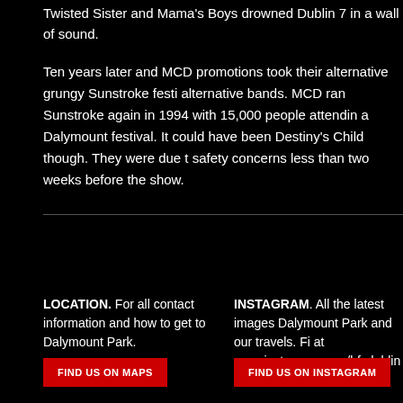Twisted Sister and Mama's Boys drowned Dublin 7 in a wall of sound.
Ten years later and MCD promotions took their alternative grungy Sunstroke festi alternative bands. MCD ran Sunstroke again in 1994 with 15,000 people attendin a Dalymount festival. It could have been Destiny's Child though. They were due t safety concerns less than two weeks before the show.
LOCATION. For all contact information and how to get to Dalymount Park.
INSTAGRAM. All the latest images Dalymount Park and our travels. Fi at www.instagram.com/bfcdublin
FIND US ON MAPS
FIND US ON INSTAGRAM